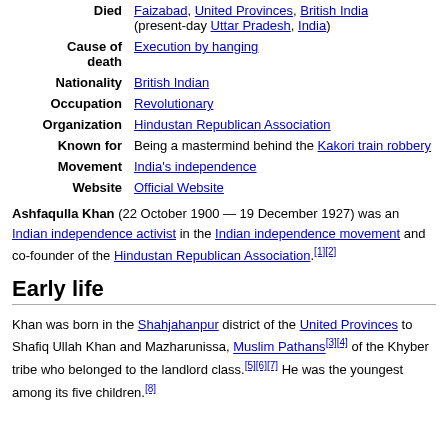| Field | Value |
| --- | --- |
| Died | Faizabad, United Provinces, British India (present-day Uttar Pradesh, India) |
| Cause of death | Execution by hanging |
| Nationality | British Indian |
| Occupation | Revolutionary |
| Organization | Hindustan Republican Association |
| Known for | Being a mastermind behind the Kakori train robbery |
| Movement | India's independence |
| Website | Official Website |
Ashfaqulla Khan (22 October 1900 — 19 December 1927) was an Indian independence activist in the Indian independence movement and co-founder of the Hindustan Republican Association.[1][2]
Early life
Khan was born in the Shahjahanpur district of the United Provinces to Shafiq Ullah Khan and Mazharunissa, Muslim Pathans[3][4] of the Khyber tribe who belonged to the landlord class.[5][6][7] He was the second youngest and its fifth child....[8]